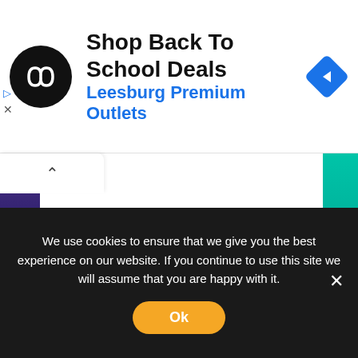[Figure (screenshot): Advertisement banner showing a black circular logo with infinity-like symbol, text 'Shop Back To School Deals' in bold black, 'Leesburg Premium Outlets' in blue, and a blue navigation arrow diamond icon on the right.]
[Figure (screenshot): Main webpage content area with a left sidebar showing a purple-to-blue gradient, a white content panel, and a right teal accent bar. A tab with a chevron up icon is visible at the top left of the content.]
We use cookies to ensure that we give you the best experience on our website. If you continue to use this site we will assume that you are happy with it.